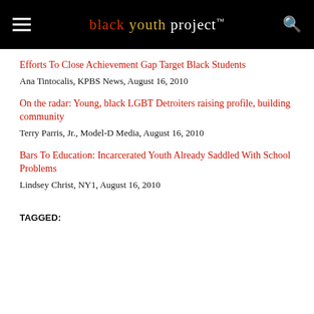black youth project™
Efforts To Close Achievement Gap Target Black Students
Ana Tintocalis, KPBS News, August 16, 2010
On the radar: Young, black LGBT Detroiters raising profile, building community
Terry Parris, Jr., Model-D Media, August 16, 2010
Bars To Education: Incarcerated Youth Already Saddled With School Problems
Lindsey Christ, NY1, August 16, 2010
TAGGED: